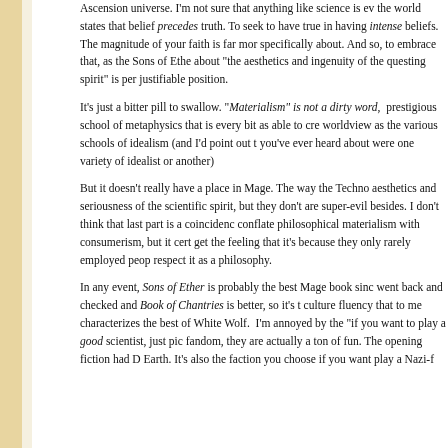Ascension universe. I'm not sure that anything like science is ever possible the world states that belief precedes truth. To seek to have true belief in having intense beliefs. The magnitude of your faith is far more important specifically about. And so, to embrace that, as the Sons of Ether do, and talk about "the aesthetics and ingenuity of the questing spirit" is perhaps a justifiable position.
It's just a bitter pill to swallow. "Materialism" is not a dirty word, it is a prestigious school of metaphysics that is every bit as able to create a rich worldview as the various schools of idealism (and I'd point out that most you've ever heard about were one variety of idealist or another).
But it doesn't really have a place in Mage. The way the Technocracy aesthetics and seriousness of the scientific spirit, but they don't... are super-evil besides. I don't think that last part is a coincidence. conflate philosophical materialism with consumerism, but it cert get the feeling that it's because they only rarely employed peop respect it as a philosophy.
In any event, Sons of Ether is probably the best Mage book sinc went back and checked and Book of Chantries is better, so it's t culture fluency that to me characterizes the best of White Wolf. I'm annoyed by the "if you want to play a good scientist, just pic fandom, they are actually a ton of fun. The opening fiction had D Earth. It's also the faction you choose if you want play a Nazi-f